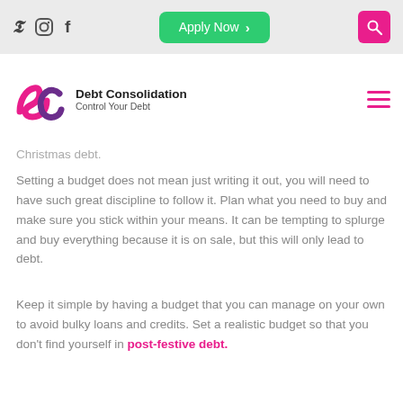Social icons: Twitter, Instagram, Facebook | Apply Now button | Search button
[Figure (logo): Debt Consolidation logo with stylized 'dc' in pink and purple, brand name 'Debt Consolidation', tagline 'Control Your Debt']
…a strategy for managing your Christmas debt.
Setting a budget does not mean just writing it out, you will need to have such great discipline to follow it. Plan what you need to buy and make sure you stick within your means. It can be tempting to splurge and buy everything because it is on sale, but this will only lead to debt.
Keep it simple by having a budget that you can manage on your own to avoid bulky loans and credits. Set a realistic budget so that you don't find yourself in post-festive debt.